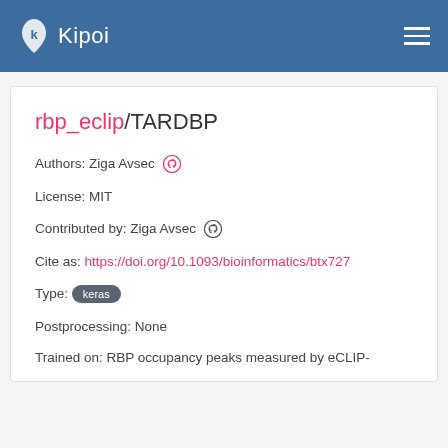Kipoi
rbp_eclip/TARDBP
Authors: Ziga Avsec
License: MIT
Contributed by: Ziga Avsec
Cite as: https://doi.org/10.1093/bioinformatics/btx727
Type: keras
Postprocessing: None
Trained on: RBP occupancy peaks measured by eCLIP-